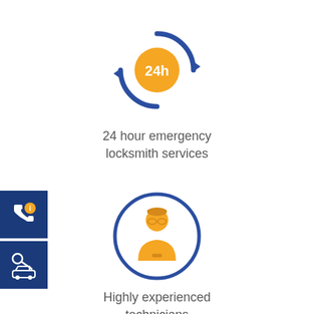[Figure (infographic): 24h circular refresh/refresh arrow icon with orange circle in center showing '24h' text in white, and blue circular arrows around it]
24 hour emergency locksmith services
[Figure (infographic): Technician/person icon in orange inside a blue circle outline]
Highly experienced technicians
[Figure (infographic): Sidebar with two dark blue buttons: one with phone and info icon, one with key and car icon]